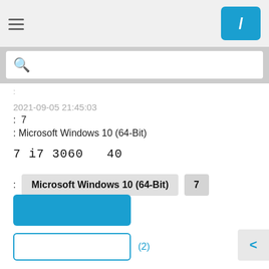[Figure (screenshot): Top navigation bar with hamburger menu icon and blue button with slash icon]
[Figure (screenshot): Search bar with magnifying glass icon on grey background]
:
2021-09-05 21:45:03
:  7
: Microsoft Windows 10 (64-Bit)
7 i7 3060  40
:   Microsoft Windows 10 (64-Bit)   7
(2)
[Figure (screenshot): Blue filled button (solid rectangle)]
[Figure (screenshot): Outlined button (white with blue border) with (2) label beside it]